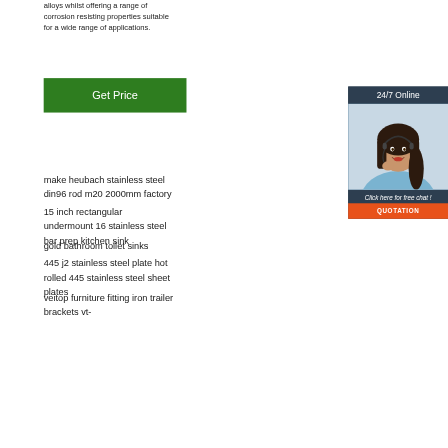alloys whilst offering a range of corrosion resisting properties suitable for a wide range of applications.
[Figure (other): Green 'Get Price' button]
[Figure (other): 24/7 Online customer service sidebar with photo of woman with headset, 'Click here for free chat!' text, and orange QUOTATION button]
make heubach stainless steel din96 rod m20 2000mm factory
15 inch rectangular undermount 16 stainless steel bar prep kitchen sink
gold bathroom toilet sinks
445 j2 stainless steel plate hot rolled 445 stainless steel sheet plates
veitop furniture fitting iron trailer brackets vt-